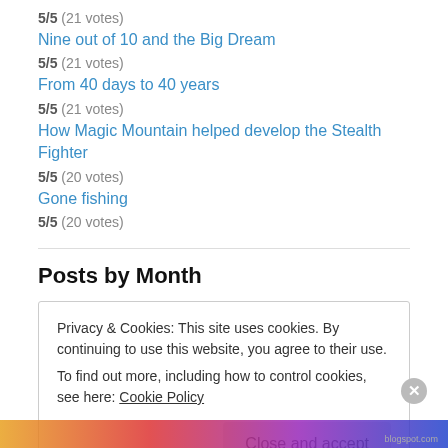5/5 (21 votes)
Nine out of 10 and the Big Dream
5/5 (21 votes)
From 40 days to 40 years
5/5 (21 votes)
How Magic Mountain helped develop the Stealth Fighter
5/5 (20 votes)
Gone fishing
5/5 (20 votes)
Posts by Month
Privacy & Cookies: This site uses cookies. By continuing to use this website, you agree to their use.
To find out more, including how to control cookies, see here: Cookie Policy